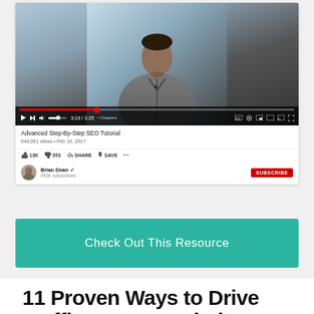[Figure (screenshot): YouTube video embed showing 'Advanced Step-By-Step SEO Tutorial' by Brian Dean with 644,001 views, Feb 16, 2017, 13K likes, 353 dislikes, Share, Save options. Red Subscribe button. Video shows a man in a grey shirt.]
[Figure (other): Teal/green button labeled 'Check Out This Resource']
11 Proven Ways to Drive Traffic to Your Website